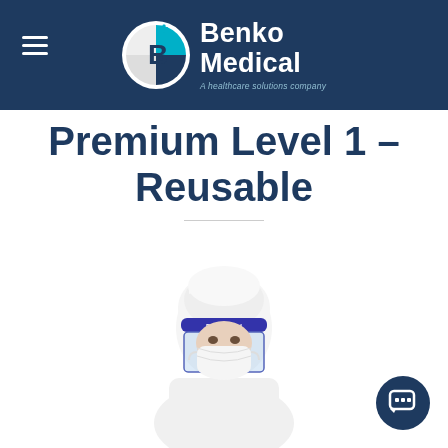Benko Medical — A healthcare solutions company
Premium Level 1 - Reusable
[Figure (photo): Person wearing full PPE including white protective suit, white surgical cap, clear face shield labeled 'Face Shield', and white surgical mask, photographed from the chest up against a white background.]